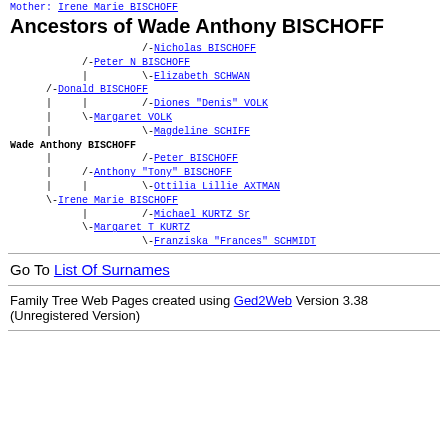Mother: Irene Marie BISCHOFF
Ancestors of Wade Anthony BISCHOFF
[Figure (other): Genealogical ancestor tree for Wade Anthony BISCHOFF showing parents, grandparents, and great-grandparents with names linked as hyperlinks in a text-based tree format.]
Go To List Of Surnames
Family Tree Web Pages created using Ged2Web Version 3.38 (Unregistered Version)